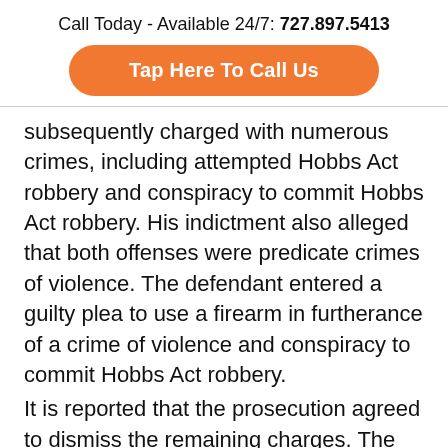Call Today - Available 24/7: 727.897.5413
Tap Here To Call Us
subsequently charged with numerous crimes, including attempted Hobbs Act robbery and conspiracy to commit Hobbs Act robbery. His indictment also alleged that both offenses were predicate crimes of violence. The defendant entered a guilty plea to use a firearm in furtherance of a crime of violence and conspiracy to commit Hobbs Act robbery.
It is reported that the prosecution agreed to dismiss the remaining charges. The defendant was ultimately convicted of using a firearm in furtherance of a crime of violence. He sought habeas review, asking